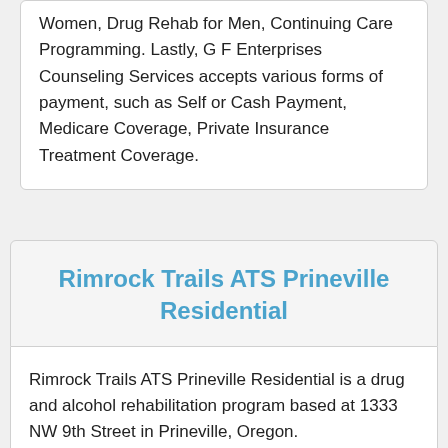Women, Drug Rehab for Men, Continuing Care Programming. Lastly, G F Enterprises Counseling Services accepts various forms of payment, such as Self or Cash Payment, Medicare Coverage, Private Insurance Treatment Coverage.
Rimrock Trails ATS Prineville Residential
Rimrock Trails ATS Prineville Residential is a drug and alcohol rehabilitation program based at 1333 NW 9th Street in Prineville, Oregon.